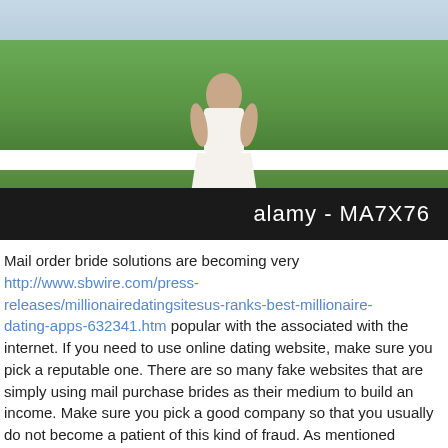[Figure (photo): Woman in white dress standing in a green field outdoors, photo watermarked with 'alamy - MA7X76' on a black bar]
Mail order bride solutions are becoming very http://www.sbwire.com/press-releases/millionairedatingsitesus-ranks-best-millionaire-dating-apps-632341.htm popular with the associated with the internet. If you need to use online dating website, make sure you pick a reputable one. There are so many fake websites that are simply using mail purchase brides as their medium to build an income. Make sure you pick a good company so that you usually do not become a patient of this kind of fraud. As mentioned mylistingbride.com ahead of, there are many